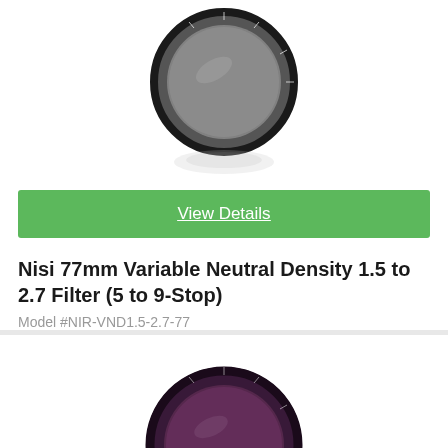[Figure (photo): NiSi 77mm variable neutral density camera filter shown at an angle with reflection below]
View Details
Nisi 77mm Variable Neutral Density 1.5 to 2.7 Filter (5 to 9-Stop)
Model #NIR-VND1.5-2.7-77
[Figure (photo): Second camera lens filter partially visible at the bottom of the page, dark purple/grey tint]